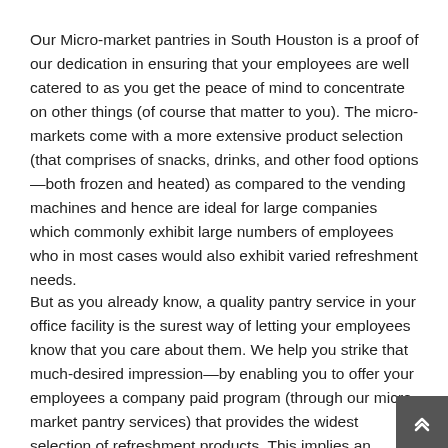Our Micro-market pantries in South Houston is a proof of our dedication in ensuring that your employees are well catered to as you get the peace of mind to concentrate on other things (of course that matter to you). The micro-markets come with a more extensive product selection (that comprises of snacks, drinks, and other food options—both frozen and heated) as compared to the vending machines and hence are ideal for large companies which commonly exhibit large numbers of employees who in most cases would also exhibit varied refreshment needs.
But as you already know, a quality pantry service in your office facility is the surest way of letting your employees know that you care about them. We help you strike that much-desired impression—by enabling you to offer your employees a company paid program (through our micro-market pantry services) that provides the widest selection of refreshment products. This implies an effective strategy